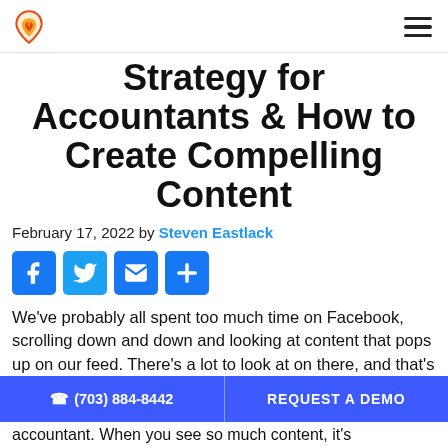Logo and navigation menu
Strategy for Accountants & How to Create Compelling Content
February 17, 2022 by Steven Eastlack
[Figure (infographic): Social share buttons: Facebook, Twitter, Email, Plus/More]
We've probably all spent too much time on Facebook, scrolling down and down and looking at content that pops up on our feed. There's a lot to look at on there, and that's just one social media accountant. When you see so much content, it's
(703) 884-8442   REQUEST A DEMO